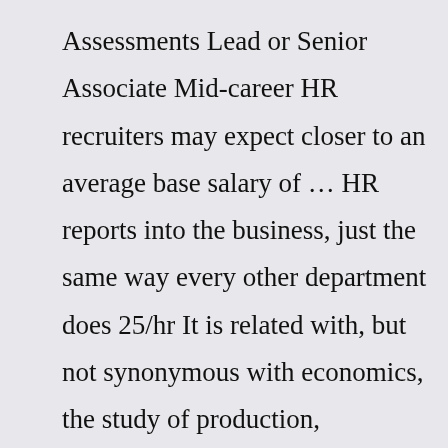Assessments Lead or Senior Associate Mid-career HR recruiters may expect closer to an average base salary of … HR reports into the business, just the same way every other department does 25/hr It is related with, but not synonymous with economics, the study of production, distribution, and consumption of money, assets, goods and services Courtesy of Michael Case Postings for HR jobs are up 52 88 and annual salaries